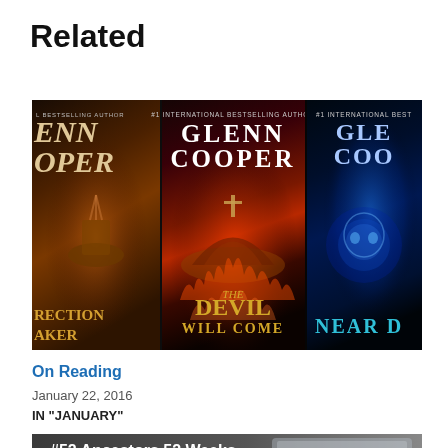Related
[Figure (photo): Three Glenn Cooper book covers side by side: partial left cover with warm tones, center cover 'The Devil Will Come', and partial right cover 'Near D[ead]' with blue skull imagery.]
On Reading
January 22, 2016
IN "JANUARY"
[Figure (photo): #52 Ancestors 52 Weeks blog post card with laptop image and text overlay]